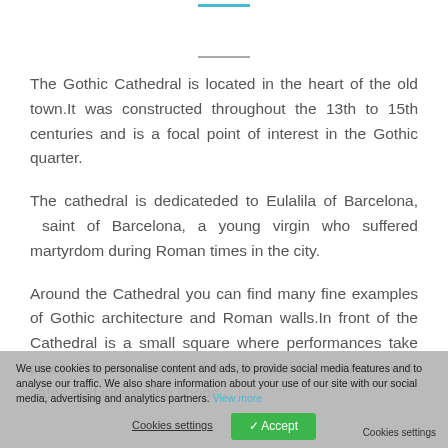The Gothic Cathedral is located in the heart of the old town.It was constructed throughout the 13th to 15th centuries and is a focal point of interest in the Gothic quarter.
The cathedral is dedicateded to Eulalila of Barcelona, saint of Barcelona, a young virgin who suffered martyrdom during Roman times in the city.
Around the Cathedral you can find many fine examples of Gothic architecture and Roman walls.In front of the Cathedral is a small square where performances take place. The area around the Cathedral has a charm with cafes and interesting shops.